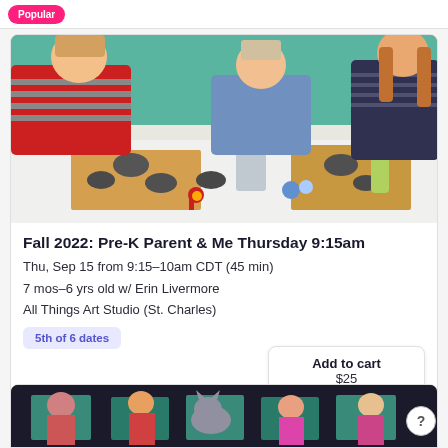[Figure (photo): Top bar with Popular label badge in pink/magenta]
[Figure (photo): Children and adult doing clay art project at a table in an art studio with teal walls]
Fall 2022: Pre-K Parent & Me Thursday 9:15am
Thu, Sep 15 from 9:15–10am CDT (45 min)
7 mos–6 yrs old w/ Erin Livermore
All Things Art Studio (St. Charles)
5th of 6 dates
Add to cart
$25
[Figure (photo): Partial view of children at art tables at the bottom of the page]